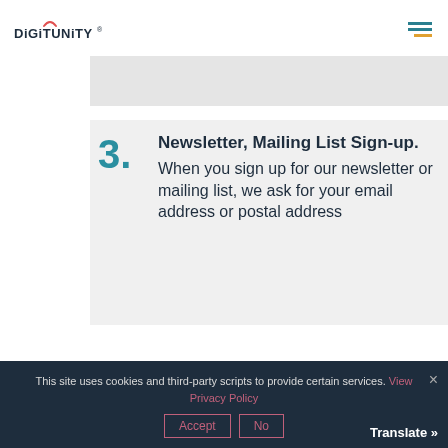DigiTunity
3. Newsletter, Mailing List Sign-up. When you sign up for our newsletter or mailing list, we ask for your email address or postal address
This site uses cookies and third-party scripts to provide certain services. View Privacy Policy
Accept  No  Translate »